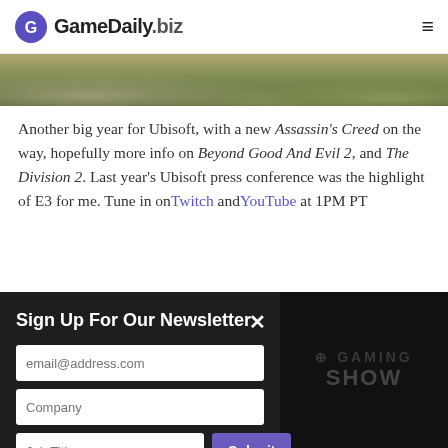GameDaily.biz
[Figure (photo): Bottom portion of an outdoor landscape photo showing grass and wildflowers with dark earth tones]
Another big year for Ubisoft, with a new Assassin's Creed on the way, hopefully more info on Beyond Good And Evil 2, and The Division 2. Last year's Ubisoft press conference was the highlight of E3 for me. Tune in on Twitch and YouTube at 1PM PT
Sign Up For Our Newsletter
[Figure (screenshot): Newsletter signup form with email, company, and job title fields and a Submit button over a dark overlay]